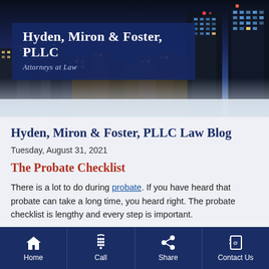[Figure (photo): City skyline at night with tall buildings and dark blue sky, serving as header background for Hyden, Miron & Foster, PLLC law firm website]
Hyden, Miron & Foster, PLLC
Attorneys at Law
Hyden, Miron & Foster, PLLC Law Blog
Tuesday, August 31, 2021
The Probate Checklist
There is a lot to do during probate. If you have heard that probate can take a long time, you heard right. The probate checklist is lengthy and every step is important.
Home | Call | Share | Contact Us